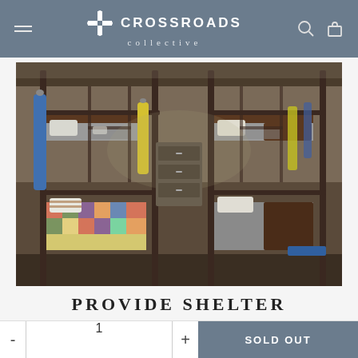CROSSROADS collective
[Figure (photo): Interior of a shelter dormitory showing rows of bunk beds with colorful quilts and bedding, clothing hanging on racks between beds]
PROVIDE SHELTER
Practice Alms-Gifting by making a gift of $25 to Catholic Charities of Acadiana on your behalf or in honor of a friend
- 1 + SOLD OUT